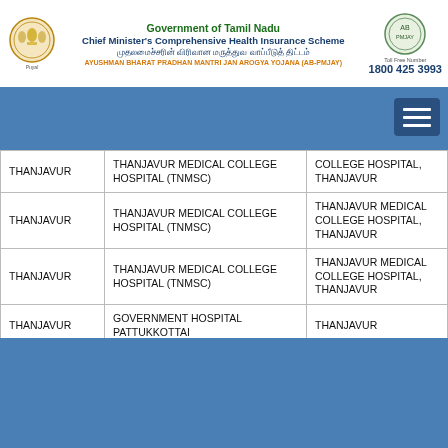Government of Tamil Nadu
Chief Minister's Comprehensive Health Insurance Scheme
AYUSHMAN BHARAT PRADHAN MANTRI JAN AROGYA YOJANA (AB-PMJAY)
Toll Free Number: 1800 425 3993
| District | Hospital Name | Location |
| --- | --- | --- |
| THANJAVUR | THANJAVUR MEDICAL COLLEGE HOSPITAL (TNMSC) | COLLEGE HOSPITAL, THANJAVUR |
| THANJAVUR | THANJAVUR MEDICAL COLLEGE HOSPITAL (TNMSC) | THANJAVUR MEDICAL COLLEGE HOSPITAL, THANJAVUR |
| THANJAVUR | THANJAVUR MEDICAL COLLEGE HOSPITAL (TNMSC) | THANJAVUR MEDICAL COLLEGE HOSPITAL, THANJAVUR |
| THANJAVUR | GOVERNMENT HOSPITAL PATTUKKOTTAI | THANJAVUR |
| THANJAVUR | GOVERNMENT HOSPITAL PATTUKKOTTAI | THANJAVUR |